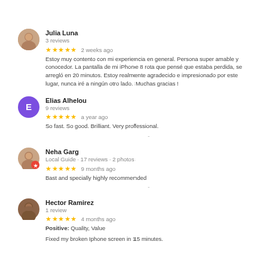Julia Luna
3 reviews
★★★★★ 2 weeks ago
Estoy muy contento con mi experiencia en general. Persona super amable y conocedor. La pantalla de mi iPhone 8 rota que pensé que estaba perdida, se arregló en 20 minutos. Estoy realmente agradecido e impresionado por este lugar, nunca iré a ningún otro lado. Muchas gracias !
Elias Alhelou
9 reviews
★★★★★ a year ago
So fast. So good. Brilliant. Very professional.
Neha Garg
Local Guide · 17 reviews · 2 photos
★★★★★ 9 months ago
Bast and specially highly recommended
Hector Ramirez
1 review
★★★★★ 4 months ago
Positive: Quality, Value
Fixed my broken Iphone screen in 15 minutes.